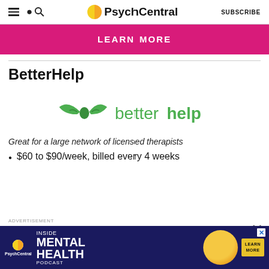PsychCentral — SUBSCRIBE
[Figure (other): Pink LEARN MORE button/banner]
BetterHelp
[Figure (logo): BetterHelp logo with green butterfly/hands icon and 'betterhelp' text in green]
Great for a large network of licensed therapists
$60 to $90/week, billed every 4 weeks
[Figure (other): PsychCentral Inside Mental Health Podcast advertisement banner at bottom]